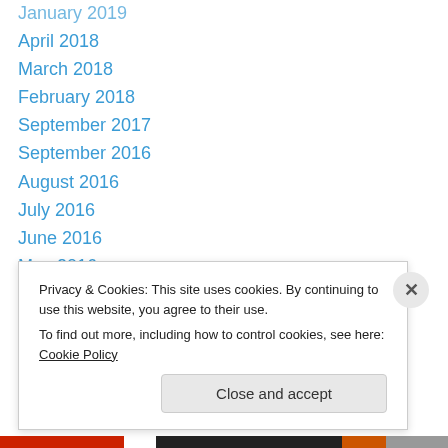January 2019
April 2018
March 2018
February 2018
September 2017
September 2016
August 2016
July 2016
June 2016
May 2016
January 2016
December 2015
September 2015
Privacy & Cookies: This site uses cookies. By continuing to use this website, you agree to their use. To find out more, including how to control cookies, see here: Cookie Policy
Close and accept